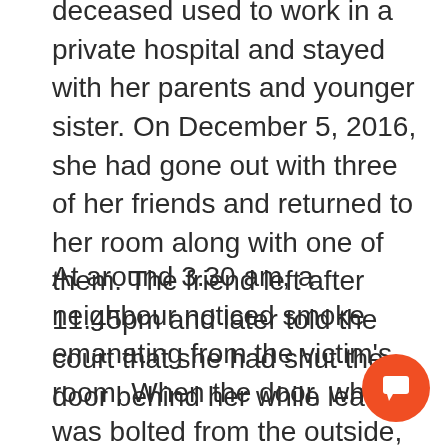deceased used to work in a private hospital and stayed with her parents and younger sister. On December 5, 2016, she had gone out with three of her friends and returned to her room along with one of them. The friend left after 11.45pm and later told the court that she had shut the door behind her while leaving.
At around 3.30 am, a neighbour noticed smoke emanating from the victim's room. When the door, which was bolted from the outside, was opened, the victim was found lying on the floor with a pair of jeans wrung around her neck. Books and clothes